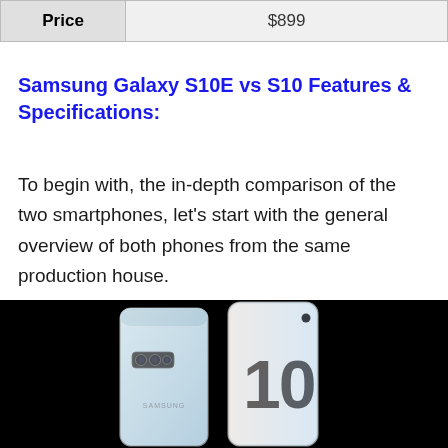| Price | $899 |
| --- | --- |
Samsung Galaxy S10E vs S10 Features & Specifications:
To begin with, the in-depth comparison of the two smartphones, let’s start with the general overview of both phones from the same production house.
[Figure (photo): Two Samsung Galaxy S10 smartphones on a black background — one showing the back with camera module, the other showing the front with a large S10 logo/text visible.]